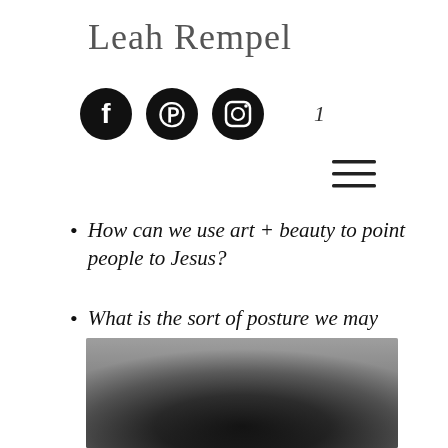Leah Rempel
[Figure (logo): Social media icons row: Facebook (black circle with F), Pinterest (black circle with P), Instagram (black circle with camera icon), plus a number '1' to the right]
[Figure (other): Hamburger menu icon (three horizontal lines)]
How can we use art + beauty to point people to Jesus?
What is the sort of posture we may need to have to see God in the art/beauty around us?
[Figure (photo): Dark blurred photograph, predominantly black and dark grey tones, partially visible at the bottom of the page]